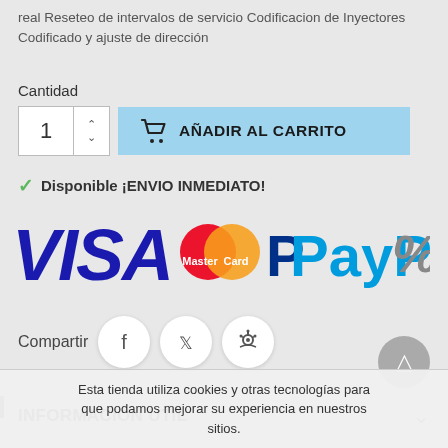real Reseteo de intervalos de servicio Codificacion de Inyectores Codificado y ajuste de dirección
Cantidad
[Figure (screenshot): Quantity selector with up/down arrows showing value 1, and a light blue 'AÑADIR AL CARRITO' (Add to Cart) button with shopping cart icon]
✓ Disponible ¡ENVIO INMEDIATO!
[Figure (logo): Payment method logos: VISA, MasterCard, PayPal, and partially visible Bitcoin/other logo]
[Figure (infographic): Share section with Facebook, Twitter, and Pinterest social media circle icon buttons]
INFORMACIÓN ÚTIL
Esta tienda utiliza cookies y otras tecnologías para que podamos mejorar su experiencia en nuestros sitios.